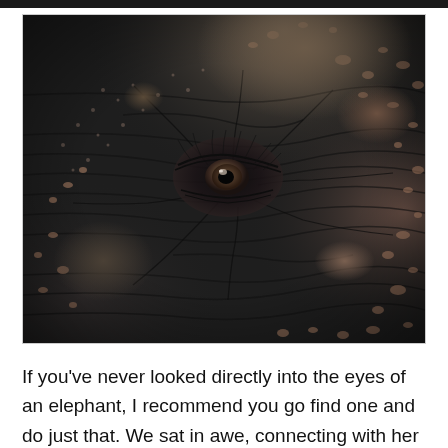[Figure (photo): Close-up photograph of an elephant's eye, showing the detailed wrinkled dark skin texture with pinkish-tan speckled pigmentation spots. The eye is in the center of the frame, surrounded by deep wrinkles and folds of thick elephant skin.]
If you've never looked directly into the eyes of an elephant, I recommend you go find one and do just that. We sat in awe, connecting with her on a